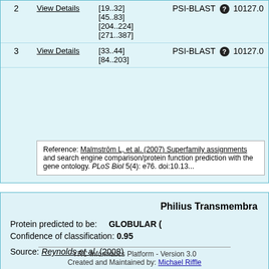| # | Details | Ranges | Method | Score |
| --- | --- | --- | --- | --- |
| 2 | View Details | [19..32]
[45..83]
[204..224]
[271..387] | PSI-BLAST | 10127.0 |
| 3 | View Details | [33..44]
[84..203] | PSI-BLAST | 10127.0 |
Reference: Malmström L, et al. (2007) Superfamily assignments and search engine comparison/protein function prediction with the gene ontology. PLoS Biol 5(4): e76. doi:10.13...
Philius Transmembrane Topology Predictor
Protein predicted to be: GLOBULAR (0.95)
Confidence of classification: 0.95
Source: Reynolds et al. (2008)
YRC Informatics Platform - Version 3.0
Created and Maintained by: Michael Riffle